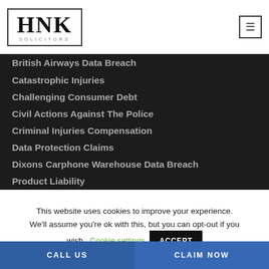[Figure (logo): HNK Solicitors logo in a rectangular border]
British Airways Data Breach
Catastrophic Injuries
Challenging Consumer Debt
Civil Actions Against The Police
Criminal Injuries Compensation
Data Protection Claims
Dixons Carphone Warehouse Data Breach
Product Liability
This website uses cookies to improve your experience. We'll assume you're ok with this, but you can opt-out if you wish. Cookie settings ACCEPT
CALL US   CLAIM NOW